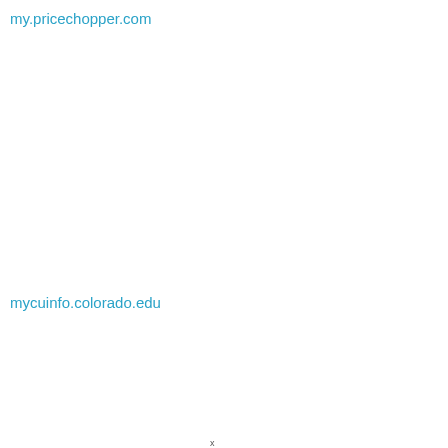my.pricechopper.com
mycuinfo.colorado.edu
x